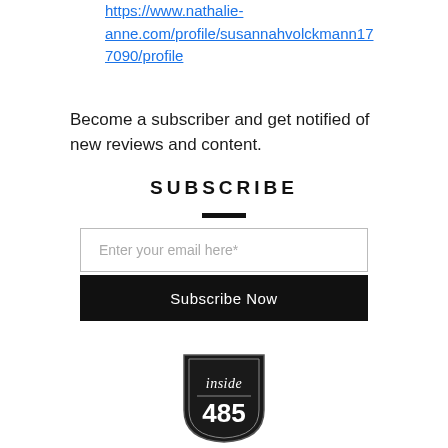https://www.nathalie-anne.com/profile/susannahvolckmann177090/profile
Become a subscriber and get notified of new reviews and content.
SUBSCRIBE
[Figure (other): Email input field with placeholder text 'Enter your email here*' and a black 'Subscribe Now' button below]
[Figure (logo): Shield-shaped logo with 'inside' in italic script at top and '485' in large numerals below, on a dark background with white text]